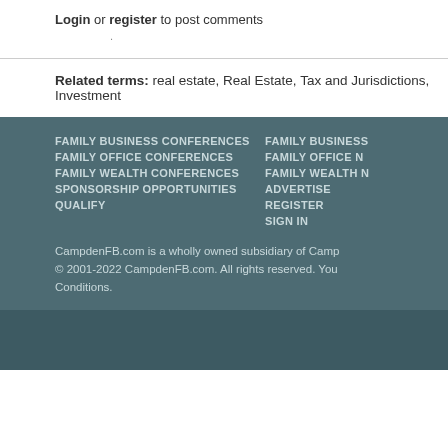Login or register to post comments
Related terms: real estate, Real Estate, Tax and Jurisdictions, Investment
FAMILY BUSINESS CONFERENCES
FAMILY OFFICE CONFERENCES
FAMILY WEALTH CONFERENCES
SPONSORSHIP OPPORTUNITIES
QUALIFY
FAMILY BUSINESS
FAMILY OFFICE N
FAMILY WEALTH N
ADVERTISE
REGISTER
SIGN IN
CampdenFB.com is a wholly owned subsidiary of Camp
© 2001-2022 CampdenFB.com. All rights reserved. You
Conditions.